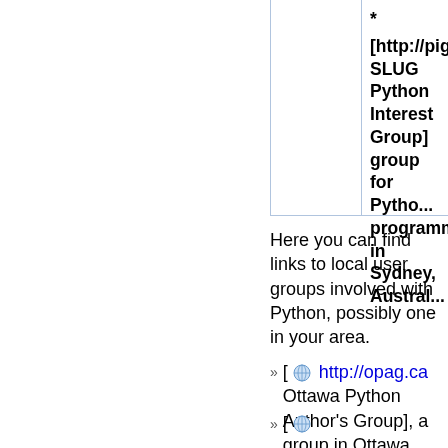|  | * [http://pig.slug.c... SLUG Python Interest Group] group for Python programmers in Sydney, Austral... |
Here you can find links to local user groups involved with Python, possibly one in your area.
[ http://opag.ca Ottawa Python Author's Group], a group in Ottawa, Canada involving Python and Zope.
[ ...